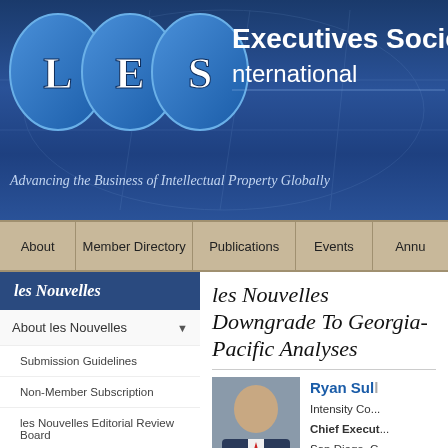[Figure (logo): LES International logo with globe and LES letters, blue header banner with world map background, title 'Licensing Executives Society International' and tagline 'Advancing the Business of Intellectual Property Globally']
Licensing Executives Society International — Advancing the Business of Intellectual Property Globally
About | Member Directory | Publications | Events | Annu...
les Nouvelles
About les Nouvelles
Submission Guidelines
Non-Member Subscription
les Nouvelles Editorial Review Board
les Nouvelles Online
June 2022
March 2022
les Nouvelles Downgrade To Georgia-Pacific Analyses
Ryan Sul...
Intensity Co...
Chief Execut...
San Diego, C...